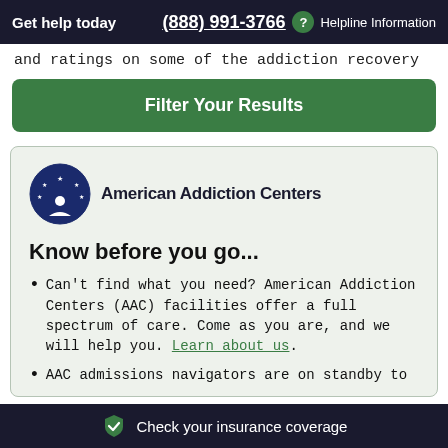Get help today  (888) 991-3766  ? Helpline Information
and ratings on some of the addiction recovery
Filter Your Results
[Figure (logo): American Addiction Centers logo — circular navy emblem with stars and figure, beside text 'American Addiction Centers']
Know before you go...
Can't find what you need? American Addiction Centers (AAC) facilities offer a full spectrum of care. Come as you are, and we will help you. Learn about us.
AAC admissions navigators are on standby to
Check your insurance coverage